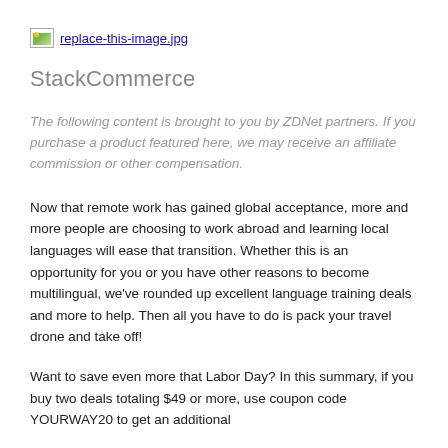[Figure (photo): Broken image placeholder icon with filename 'replace-this-image.jpg']
StackCommerce
The following content is brought to you by ZDNet partners. If you purchase a product featured here, we may receive an affiliate commission or other compensation.
Now that remote work has gained global acceptance, more and more people are choosing to work abroad and learning local languages will ease that transition. Whether this is an opportunity for you or you have other reasons to become multilingual, we've rounded up excellent language training deals and more to help. Then all you have to do is pack your travel drone and take off!
Want to save even more that Labor Day? In this summary, if you buy two deals totaling $49 or more, use coupon code YOURWAY20 to get an additional